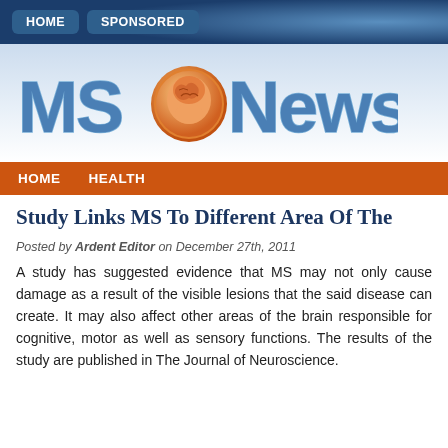HOME  SPONSORED
[Figure (logo): MS News logo with brain icon between 'MS' and 'News' text in blue metallic letters]
HOME   HEALTH
Study Links MS To Different Area Of The
Posted by Ardent Editor on December 27th, 2011
A study has suggested evidence that MS may not only cause damage as a result of the visible lesions that the said disease can create. It may also affect other areas of the brain responsible for cognitive, motor as well as sensory functions. The results of the study are published in The Journal of Neuroscience.